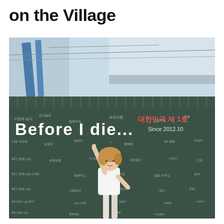on the Village
[Figure (photo): A woman in a white t-shirt stands in front of a large dark green chalkboard wall covered in Korean handwritten text and messages. The wall reads 'Before I die... Since 2012.10' and '대한민국 제 1호' in large white letters. The woman is pointing upward with one finger. Above the wall is visible structural building elements and power lines against a bright sky.]